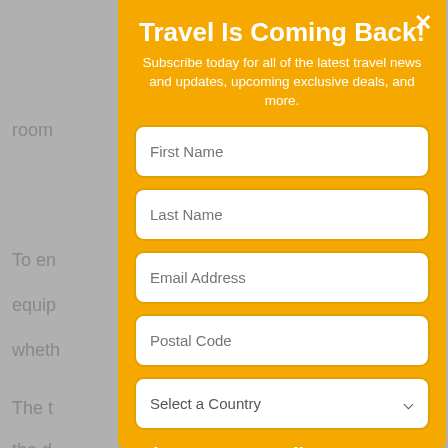[Figure (screenshot): Blurred webpage background with grey text visible behind modal overlay]
Travel Is Coming Back!
Subscribe today for all of the latest travel news and updates, upcoming exclusive deals, and more.
First Name
Last Name
Email Address
Postal Code
Select a Country
What Best Describes You?
Travel Agent
Travel Supplier
Traveler